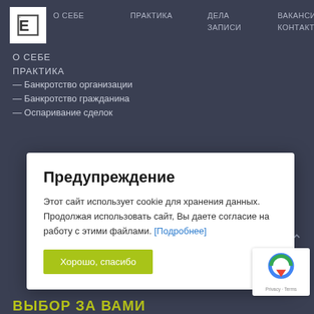[Figure (logo): White box with stylized 'E' letter logo in dark color]
О СЕБЕ   ПРАКТИКА   ДЕЛА   ВАКАНСИИ   ЗАПИСИ   КОНТАКТЫ
О СЕБЕ
ПРАКТИКА
— Банкротство организации
— Банкротство гражданина
— Оспаривание сделок
Предупреждение
Этот сайт использует cookie для хранения данных. Продолжая использовать сайт, Вы даете согласие на работу с этими файлами. [Подробнее]
Хорошо, спасибо
ВЫБОР ЗА ВАМИ